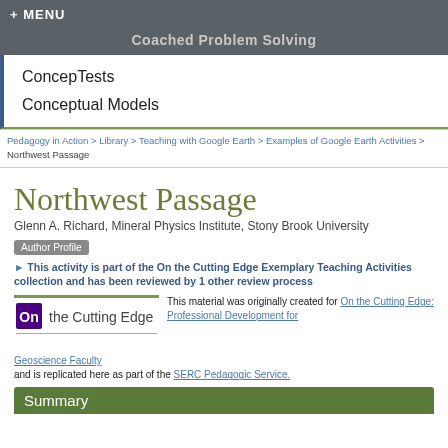+ MENU
Coached Problem Solving
ConcepTests
Conceptual Models
Pedagogy in Action > Library > Teaching with Google Earth > Examples of Google Earth Activities > Northwest Passage
Northwest Passage
Glenn A. Richard, Mineral Physics Institute, Stony Brook University  Author Profile
This activity is part of the On the Cutting Edge Exemplary Teaching Activities collection and has been reviewed by 1 other review process
[Figure (logo): On the Cutting Edge logo with purple 'On' box and horizontal line above]
This material was originally created for On the Cutting Edge: Professional Development for Geoscience Faculty and is replicated here as part of the SERC Pedagogic Service.
Summary